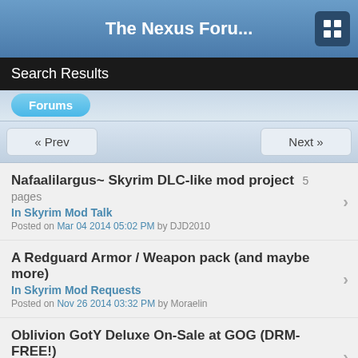The Nexus Foru...
Search Results
Forums
« Prev   Next »
Nafaalilargus~ Skyrim DLC-like mod project 5 pages
In Skyrim Mod Talk
Posted on Mar 04 2014 05:02 PM by DJD2010
A Redguard Armor / Weapon pack (and maybe more)
In Skyrim Mod Requests
Posted on Nov 26 2014 03:32 PM by Moraelin
Oblivion GotY Deluxe On-Sale at GOG (DRM-FREE!)
In Oblivion Discussion
Posted on Oct 23 2017 06:58 AM by Striker879
Quality Redguard Content non existant...
In General Skyrim Discussion
Posted on Dec 27 2015 06:54 AM by Colinpark